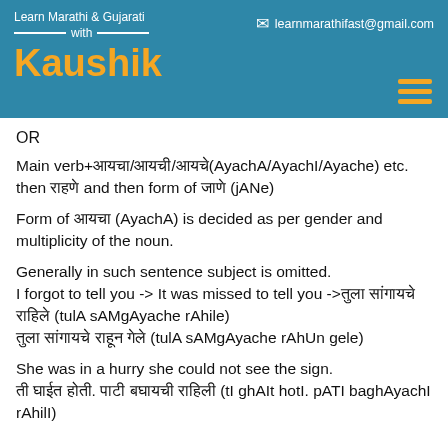Learn Marathi & Gujarati with Kaushik | learnmarathifast@gmail.com
OR
Main verb+आयचा/आयची/आयचे(AyachA/AyachI/Ayache) etc. then राहणे and then form of जाणे (jANe)
Form of आयचा (AyachA) is decided as per gender and multiplicity of the noun.
Generally in such sentence subject is omitted.
I forgot to tell you -> It was missed to tell you ->तुला सांगायचे राहिले (tulA sAMgAyache rAhile)
तुला सांगायचे राहून गेले (tulA sAMgAyache rAhUn gele)
She was in a hurry she could not see the sign.
ती घाईत होती. पाटी बघायची राहिली (tI ghAlt hotI. pATI baghAyachI rAhilI)